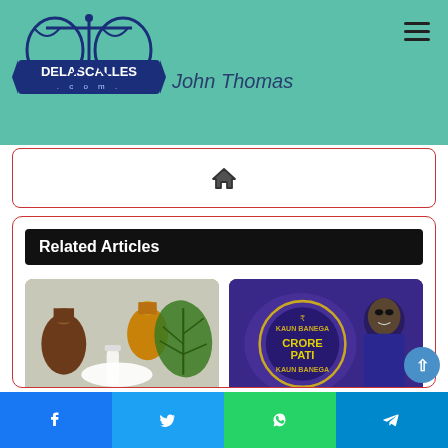[Figure (logo): Delascalles.com logo — blue scales of justice emblem with banner]
John Thomas
[Figure (illustration): Home icon (house symbol) for breadcrumb navigation]
Related Articles
[Figure (photo): CBD powder, bottles of oil, and cannabis leaf on a table]
How CBD Powder Is Made
October 23, 2021
[Figure (photo): Kaun Banega Crorepati show logo with host Amitabh Bachchan]
How To Change Into KBC Lottery Winner 2021?
June 24, 2021
[Figure (illustration): Social share bar with Facebook, Twitter, WhatsApp, and Telegram icons]